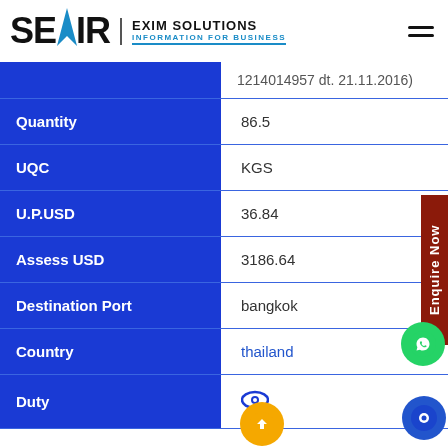SEAIR EXIM SOLUTIONS INFORMATION FOR BUSINESS
| Field | Value |
| --- | --- |
|  | 1214014957 dt. 21.11.2016) |
| Quantity | 86.5 |
| UQC | KGS |
| U.P.USD | 36.84 |
| Assess USD | 3186.64 |
| Destination Port | bangkok |
| Country | thailand |
| Duty |  |